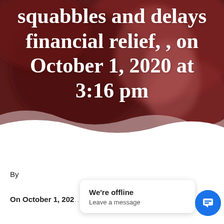[Figure (photo): Blurred background photo with dark red/maroon tones, appears to show a person in background, with a white wave-shaped divider at the bottom]
squabbles and delays financial relief, , on October 1, 2020 at 3:16 pm
By
On October 1, 202...y P...